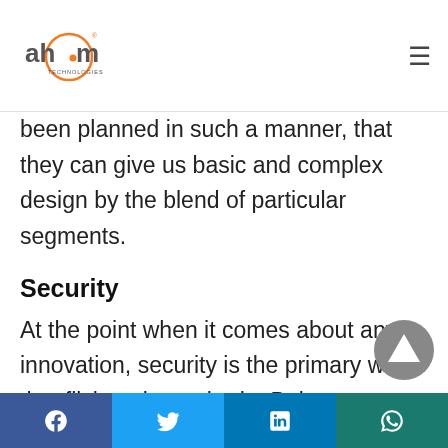ah•m TECHNOLOGIES [logo] [hamburger menu]
been planned in such a manner, that they can give us basic and complex design by the blend of particular segments.
Security
At the point when it comes about any innovation, security is the primary word that flickers in our brain. Being a generally trusted and made sure about assistance, it guarantees ideal security to deal with the installment and conditional procedure. However, how it gives the security? Is it
Facebook | Twitter | LinkedIn | WhatsApp